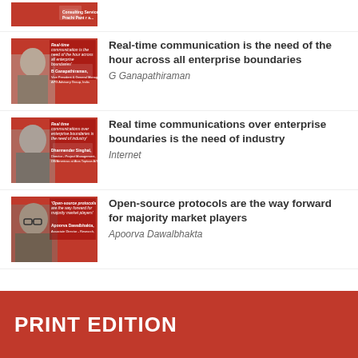[Figure (photo): Partial thumbnail of article card at top of page, partially cropped]
[Figure (photo): Red branded card thumbnail with photo of G Ganapathiraman, Vice President & General Manager, APG Advisory Group, India]
Real-time communication is the need of the hour across all enterprise boundaries
G Ganapathiraman
[Figure (photo): Red branded card thumbnail with photo of Dharmender Singhal, Director - Project Management, DB/Americas at Atos Toptase A/S]
Real time communications over enterprise boundaries is the need of industry
Internet
[Figure (photo): Red branded card thumbnail with photo of Apoorva Dawalbhakta, Associate Director - Research]
Open-source protocols are the way forward for majority market players
Apoorva Dawalbhakta
PRINT EDITION